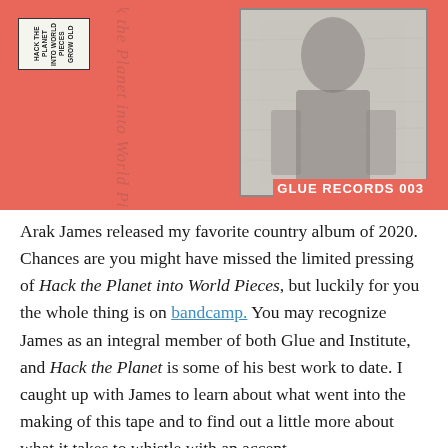[Figure (photo): Album cover art for 'Hack the Planet into World Pieces' by Arak James on Glue Records. Salmon/coral red background with a rotated cursive title text running vertically, a small white label sticker in the upper left, a black-and-white photo of a person in the upper right, and 'GLUE RECORDS 003' text in the lower right.]
Arak James released my favorite country album of 2020. Chances are you might have missed the limited pressing of Hack the Planet into World Pieces, but luckily for you the whole thing is on bandcamp. You may recognize James as an integral member of both Glue and Institute, and Hack the Planet is some of his best work to date. I caught up with James to learn about what went into the making of this tape and to find out a little more about what it takes to whistle with an accent.